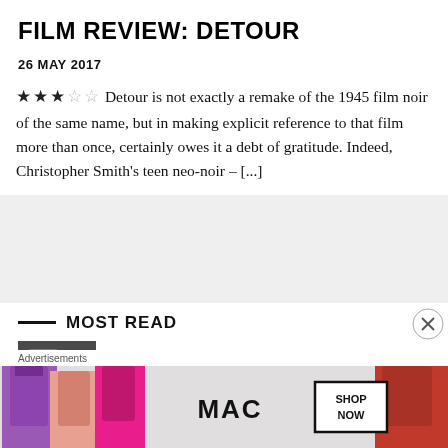FILM REVIEW: DETOUR
26 MAY 2017
★★★☆☆ Detour is not exactly a remake of the 1945 film noir of the same name, but in making explicit reference to that film more than once, certainly owes it a debt of gratitude. Indeed, Christopher Smith's teen neo-noir – [...]
[Figure (other): Gray advertisement placeholder box]
MOST READ
[Figure (photo): Thumbnail image for Venice 2022: White Noise review]
Venice 2022: White Noise review
Advertisements
[Figure (photo): MAC cosmetics advertisement banner showing lipsticks with SHOP NOW button]